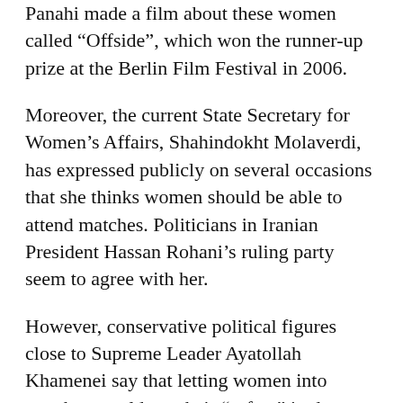Panahi made a film about these women called “Offside”, which won the runner-up prize at the Berlin Film Festival in 2006.
Moreover, the current State Secretary for Women’s Affairs, Shahindokht Molaverdi, has expressed publicly on several occasions that she thinks women should be able to attend matches. Politicians in Iranian President Hassan Rohani’s ruling party seem to agree with her.
However, conservative political figures close to Supreme Leader Ayatollah Khamenei say that letting women into matches would put their “safety” in danger.
However, this ban on women attending matches isn’t set in stone, for it becomes somewhat bizarrely overlooked when international sports competitions are organised in Iranian stadiums. For one, world football’s